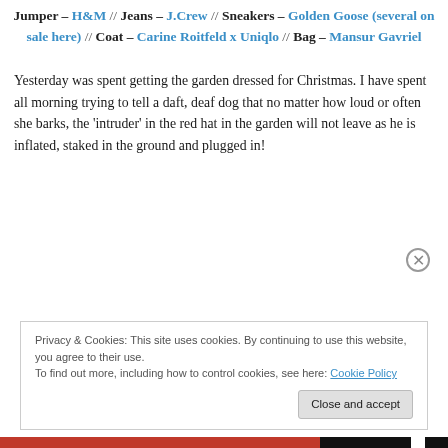Jumper – H&M // Jeans – J.Crew // Sneakers – Golden Goose (several on sale here) // Coat – Carine Roitfeld x Uniqlo // Bag – Mansur Gavriel
Yesterday was spent getting the garden dressed for Christmas. I have spent all morning trying to tell a daft, deaf dog that no matter how loud or often she barks, the 'intruder' in the red hat in the garden will not leave as he is inflated, staked in the ground and plugged in!
Privacy & Cookies: This site uses cookies. By continuing to use this website, you agree to their use. To find out more, including how to control cookies, see here: Cookie Policy